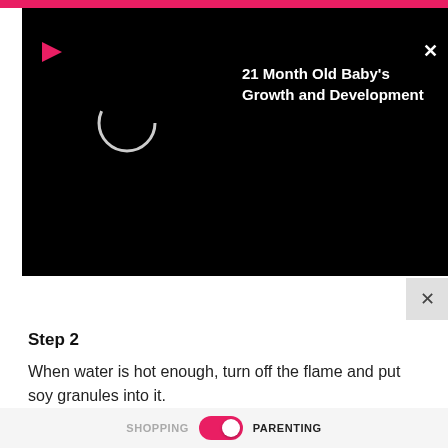[Figure (screenshot): Black video player panel showing a loading circle and title '21 Month Old Baby's Growth and Development' with a play arrow icon and close X button]
Step 2
When water is hot enough, turn off the flame and put soy granules into it.
Step 3
Cover and keep aside for 10-15 minutes.
Step 4
SHOPPING   [toggle]   PARENTING